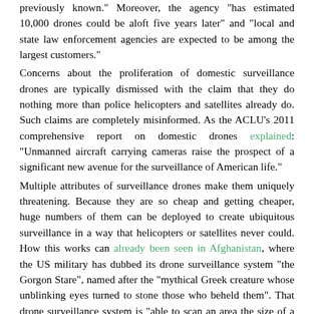previously known." Moreover, the agency "has estimated 10,000 drones could be aloft five years later" and "local and state law enforcement agencies are expected to be among the largest customers."
Concerns about the proliferation of domestic surveillance drones are typically dismissed with the claim that they do nothing more than police helicopters and satellites already do. Such claims are completely misinformed. As the ACLU's 2011 comprehensive report on domestic drones explained: "Unmanned aircraft carrying cameras raise the prospect of a significant new avenue for the surveillance of American life."
Multiple attributes of surveillance drones make them uniquely threatening. Because they are so cheap and getting cheaper, huge numbers of them can be deployed to create ubiquitous surveillance in a way that helicopters or satellites never could. How this works can already been seen in Afghanistan, where the US military has dubbed its drone surveillance system "the Gorgon Stare", named after the "mythical Greek creature whose unblinking eyes turned to stone those who beheld them". That drone surveillance system is "able to scan an area the size of a small town" and "the most sophisticated robotics use artificial intelligence that [can] seek out and record certain kinds of suspicious activity". Boasted one US